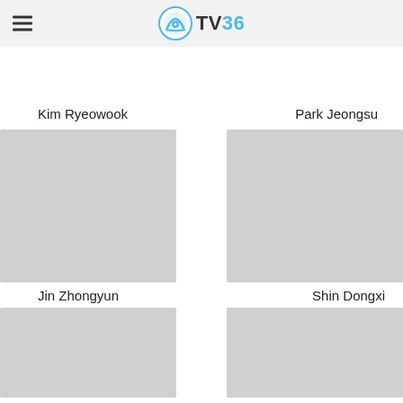TV36
Kim Ryeowook
[Figure (photo): Photo placeholder for Kim Ryeowook]
Park Jeongsu
[Figure (photo): Photo placeholder for Park Jeongsu]
Jin Zhongyun
[Figure (photo): Photo placeholder for Jin Zhongyun]
Shin Dongxi
[Figure (photo): Photo placeholder for Shin Dongxi]